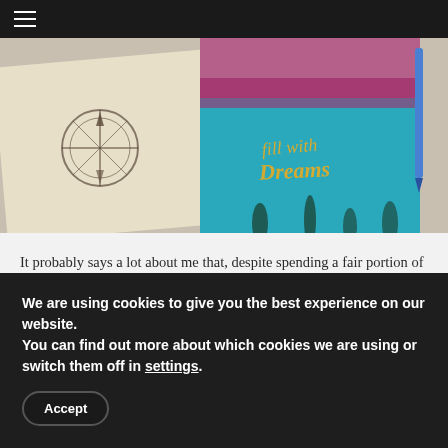☰
[Figure (photo): A photo showing two notebooks/journals on a textured surface. One has a compass rose design, the other is teal/blue with cursive text reading 'fill with Dreams'. A blue pen is visible on the right.]
It probably says a lot about me that, despite spending a fair portion of my time writing and blogging, I don't have a dedicated workspace.
Instead I work from my sofa, laptop perched on my knee.
You can tell how serious I am about that day's work by
We are using cookies to give you the best experience on our website.
You can find out more about which cookies we are using or switch them off in settings.
Accept